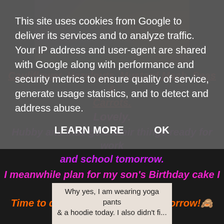This site uses cookies from Google to deliver its services and to analyze traffic. Your IP address and user-agent are shared with Google along with performance and security metrics to ensure quality of service, generate usage statistics, and to detect and address abuse.
LEARN MORE    OK
[Figure (photo): Food photo showing cauliflower, hazelnuts, mustard mash, peas and carrots dish on a plate]
Cauliflower, Hazelnuts, Mustard Mash, Peas & Carrots.
Lovely.
Hubby and kids gets their things ready for work and school tomorrow.
I meanwhile plan for my son's Birthday cake I have to make....
Time to dig out that bikini for tomorrow!🙈
[Figure (screenshot): Text image reading: Why yes, I am wearing yoga pants & a hoodie today. I also didn't fi...]